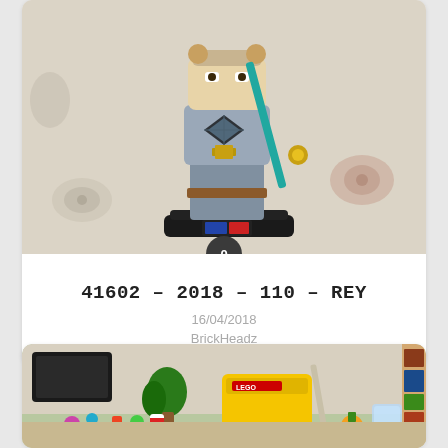[Figure (photo): LEGO BrickHeadz Rey figure on a floral patterned surface]
41602 – 2018 – 110 – REY
16/04/2018
BrickHeadz
[Figure (photo): Collection of LEGO sets and figures on a table with bookshelves in the background]